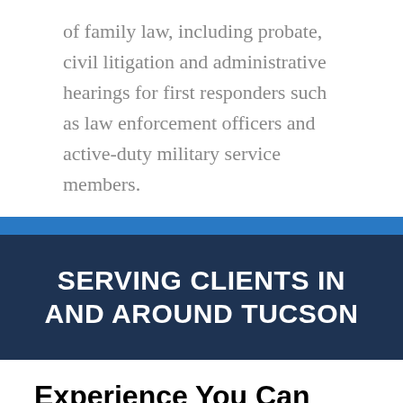of family law, including probate, civil litigation and administrative hearings for first responders such as law enforcement officers and active-duty military service members.
SERVING CLIENTS IN AND AROUND TUCSON
Experience You Can Rely On
Attorney Richard M. Winter has more than 30